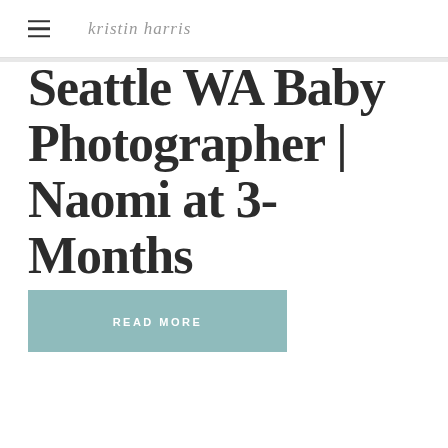kristin harris
Seattle WA Baby Photographer | Naomi at 3-Months
READ MORE